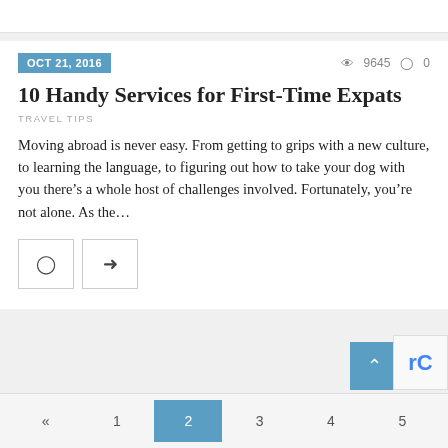OCT 21, 2016
9645  0
10 Handy Services for First-Time Expats
TRAVEL TIPS
Moving abroad is never easy. From getting to grips with a new culture, to learning the language, to figuring out how to take your dog with you there’s a whole host of challenges involved. Fortunately, you’re not alone. As the…
«  1  2  3  4  5